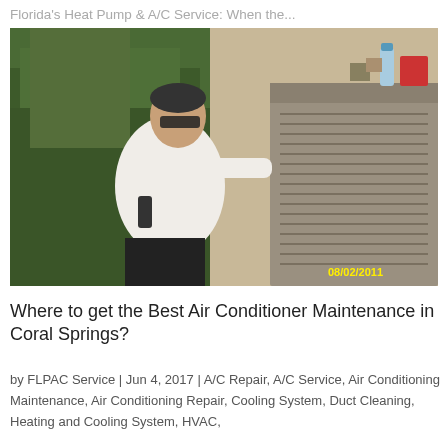Florida's Heat Pump & A/C Service: When the...
[Figure (photo): A technician in a white shirt and sunglasses working on an outdoor HVAC/air conditioning unit, with green shrubs in the background. Timestamp reads 08/02/2011 in yellow text at bottom right.]
Where to get the Best Air Conditioner Maintenance in Coral Springs?
by FLPAC Service | Jun 4, 2017 | A/C Repair, A/C Service, Air Conditioning Maintenance, Air Conditioning Repair, Cooling System, Duct Cleaning, Heating and Cooling System, HVAC,